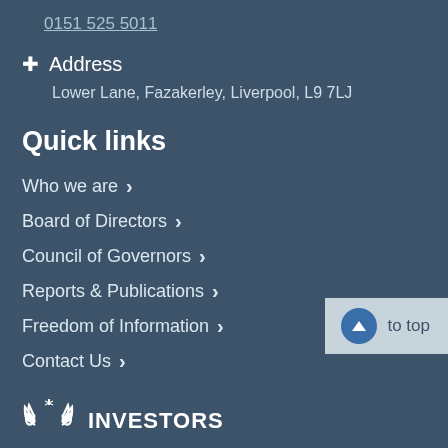0151 525 5011
Address
Lower Lane, Fazakerley, Liverpool, L9 7LJ
Quick links
Who we are
Board of Directors
Council of Governors
Reports & Publications
Freedom of Information
Contact Us
[Figure (logo): Investors in People logo with laurel wreath icon and INVESTORS text]
to top